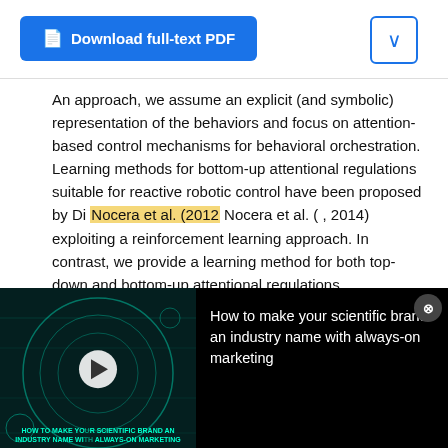[Figure (screenshot): Download full-text PDF button (blue) with dropdown arrow button on top bar]
An approach, we assume an explicit (and symbolic) representation of the behaviors and focus on attention-based control mechanisms for behavioral orchestration. Learning methods for bottom-up attentional regulations suitable for reactive robotic control have been proposed by Di Nocera et al. (2012 Nocera et al. ( , 2014) exploiting a reinforcement learning approach. In contrast, we provide a learning method for both top-down and bottom-up attentional regulations. ...
[Figure (screenshot): Advertisement overlay: video thumbnail for 'How to make your scientific brand an industry name with always-on marketing' with play button, and close button]
[Figure (infographic): ResearchGate ad: photo of scientists with text 'Are you recruiting experts in chemistry?']